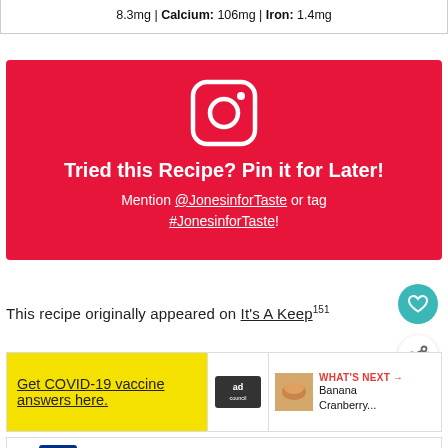8.3mg | Calcium: 106mg | Iron: 1.4mg
[Figure (infographic): Red Instagram-style promo block with Instagram icon, bold text 'Tried this Recipe? Pin it for Later!', and subtext 'Mention @JonesinforTaste or tag #JonesinforTaste!']
This recipe originally appeared on It's A Keep 151
[Figure (infographic): Ad banner: yellow background with 'Get COVID-19 vaccine answers here.' text, Ad Council logo, and 'WHAT'S NEXT: Banana Cranberry...' preview]
[Figure (infographic): CM store ad: In-store shopping, Curbside pickup, Delivery]